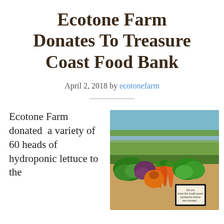Ecotone Farm Donates To Treasure Coast Food Bank
April 2, 2018 by ecotonefarm
Ecotone Farm donated  a variety of 60 heads of hydroponic lettuce to the
[Figure (photo): Outdoor farm scene with a pond and greenery in the background, and a display of fresh vegetables including orange carrots, red and green lettuce in the foreground with a small sign.]